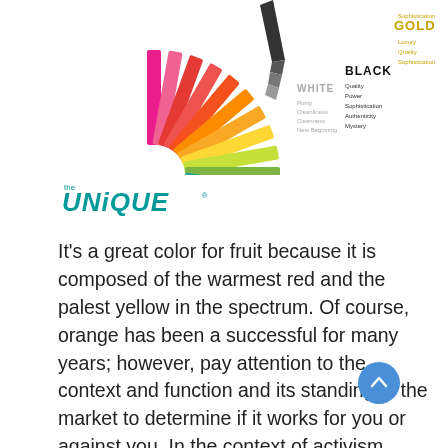[Figure (illustration): A color wheel fan/swatch showing spectrum of colors (pink, red, orange, yellow, green, purple, etc.) with labels for WHITE (Purity, Cleanliness, Cleanness, New Beginning), BLACK (Quality, Power, Sophistication, Authenticity, Mystery), and GOLD (Luxury, Quality, Sophistication) on the right side.]
[Figure (logo): THE UNIQUE logo in teal/cyan color with stylized text]
It's a great color for fruit because it is composed of the warmest red and the palest yellow in the spectrum. Of course, orange has been a successful for many years; however, pay attention to the context and function and its standing in the market to determine if it works for you or against you. In the context of activism, green is synonymous with health and the environment, but it can also be environmentally wasteful. This situation, which, instead, a proven to be one like the general eco expectation, has come to fruition. Eco expectations have faded and people have stopped thinking that eco